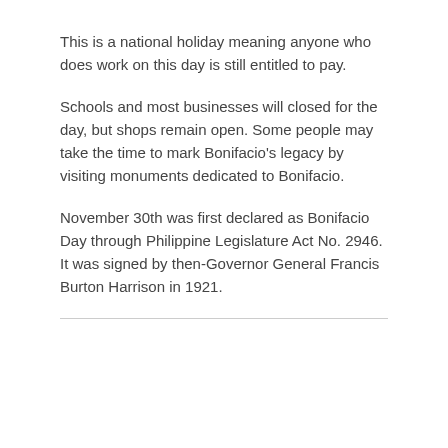This is a national holiday meaning anyone who does work on this day is still entitled to pay.
Schools and most businesses will closed for the day, but shops remain open. Some people may take the time to mark Bonifacio's legacy by visiting monuments dedicated to Bonifacio.
November 30th was first declared as Bonifacio Day through Philippine Legislature Act No. 2946. It was signed by then-Governor General Francis Burton Harrison in 1921.